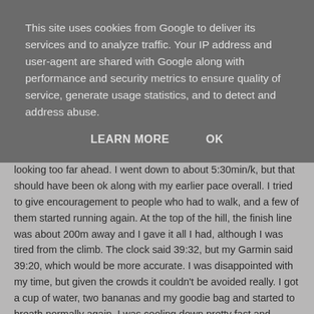This site uses cookies from Google to deliver its services and to analyze traffic. Your IP address and user-agent are shared with Google along with performance and security metrics to ensure quality of service, generate usage statistics, and to detect and address abuse.
LEARN MORE    OK
focused on keeping running, slowing as needed and not looking too far ahead. I went down to about 5:30min/k, but that should have been ok along with my earlier pace overall. I tried to give encouragement to people who had to walk, and a few of them started running again. At the top of the hill, the finish line was about 200m away and I gave it all I had, although I was tired from the climb. The clock said 39:32, but my Garmin said 39:20, which would be more accurate. I was disappointed with my time, but given the crowds it couldn't be avoided really. I got a cup of water, two bananas and my goodie bag and started to breath normally again. I was cooling down pretty fast and started to feel cold in no time, so I jogged the 1.8k back to the car as a cool down run.